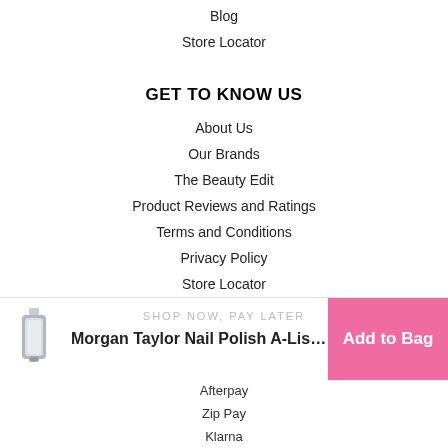Blog
Store Locator
GET TO KNOW US
About Us
Our Brands
The Beauty Edit
Product Reviews and Ratings
Terms and Conditions
Privacy Policy
Store Locator
[Figure (screenshot): Sticky add-to-bag bar showing Morgan Taylor Nail Polish A-Liste... product with Add to Bag button in pink]
SHOP NOW, PAY LATER
Afterpay
Zip Pay
Klarna